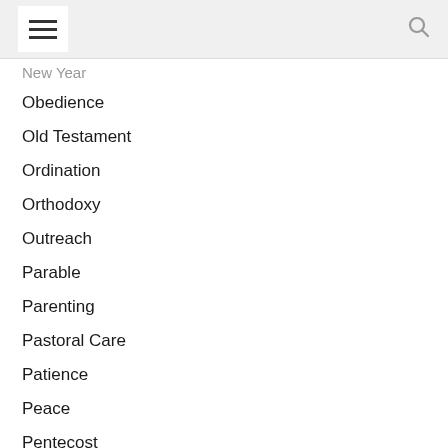☰  🔍
New Year
Obedience
Old Testament
Ordination
Orthodoxy
Outreach
Parable
Parenting
Pastoral Care
Patience
Peace
Pentecost
Perfection
Perseverance
Philosophy of Religion